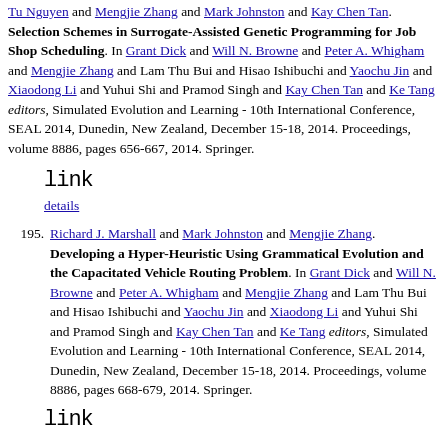Tu Nguyen and Mengjie Zhang and Mark Johnston and Kay Chen Tan. Selection Schemes in Surrogate-Assisted Genetic Programming for Job Shop Scheduling. In Grant Dick and Will N. Browne and Peter A. Whigham and Mengjie Zhang and Lam Thu Bui and Hisao Ishibuchi and Yaochu Jin and Xiaodong Li and Yuhui Shi and Pramod Singh and Kay Chen Tan and Ke Tang editors, Simulated Evolution and Learning - 10th International Conference, SEAL 2014, Dunedin, New Zealand, December 15-18, 2014. Proceedings, volume 8886, pages 656-667, 2014. Springer.
link  details
195. Richard J. Marshall and Mark Johnston and Mengjie Zhang. Developing a Hyper-Heuristic Using Grammatical Evolution and the Capacitated Vehicle Routing Problem. In Grant Dick and Will N. Browne and Peter A. Whigham and Mengjie Zhang and Lam Thu Bui and Hisao Ishibuchi and Yaochu Jin and Xiaodong Li and Yuhui Shi and Pramod Singh and Kay Chen Tan and Ke Tang editors, Simulated Evolution and Learning - 10th International Conference, SEAL 2014, Dunedin, New Zealand, December 15-18, 2014. Proceedings, volume 8886, pages 668-679, 2014. Springer.
link